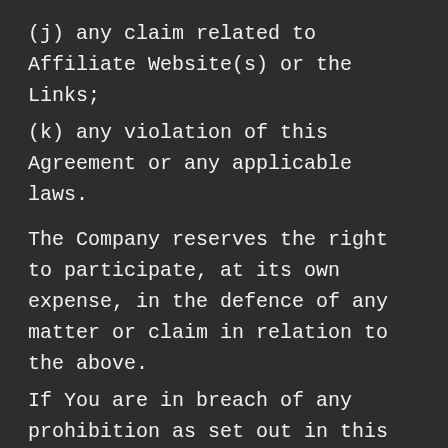(j) any claim related to Affiliate Website(s) or the Links;
(k) any violation of this Agreement or any applicable laws.
The Company reserves the right to participate, at its own expense, in the defence of any matter or claim in relation to the above.
If You are in breach of any prohibition as set out in this Agreement above, then, without limiting, and in addition to, any other remedy that we may have under these terms and conditions and Agreement with You, or applicable law, we may, in our discretion, send a warning notice to You. If You do not rectify any breach capable of repair within the time